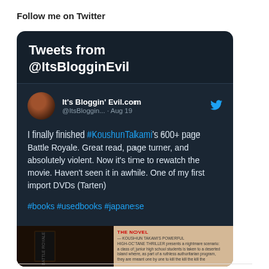Follow me on Twitter
[Figure (screenshot): Twitter widget showing tweets from @ItsBlogginEvil with a tweet about Koushun Takami's Battle Royale book, including hashtags #books #usedbooks #japanese, and a partial book cover image at the bottom.]